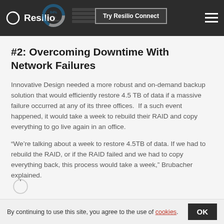Resilio — Try Resilio Connect
#2: Overcoming Downtime With Network Failures
Innovative Design needed a more robust and on-demand backup solution that would efficiently restore 4.5 TB of data if a massive failure occurred at any of its three offices.  If a such event happened, it would take a week to rebuild their RAID and copy everything to go live again in an office.
“We’re talking about a week to restore 4.5TB of data. If we had to rebuild the RAID, or if the RAID failed and we had to copy everything back, this process would take a week,” Brubacher explained.
By continuing to use this site, you agree to the use of cookies. OK